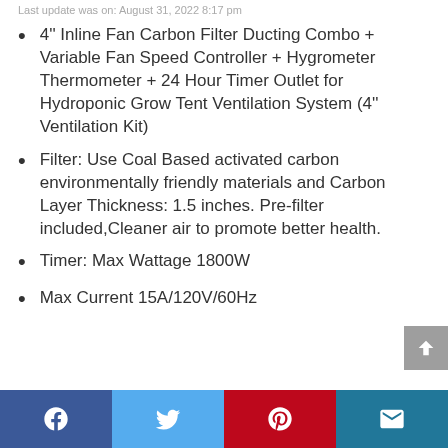Last update was on: August 31, 2022 8:17 pm
4'' Inline Fan Carbon Filter Ducting Combo + Variable Fan Speed Controller + Hygrometer Thermometer + 24 Hour Timer Outlet for Hydroponic Grow Tent Ventilation System (4'' Ventilation Kit)
Filter: Use Coal Based activated carbon environmentally friendly materials and Carbon Layer Thickness: 1.5 inches. Pre-filter included,Cleaner air to promote better health.
Timer: Max Wattage 1800W
Max Current 15A/120V/60Hz